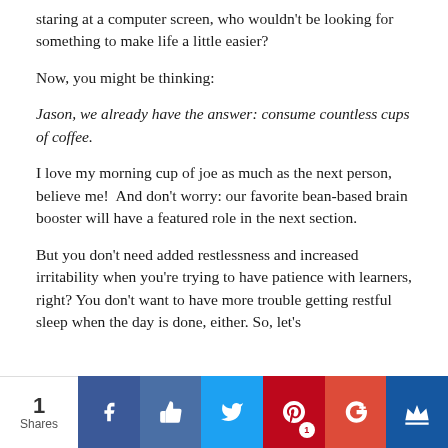staring at a computer screen, who wouldn't be looking for something to make life a little easier?
Now, you might be thinking:
Jason, we already have the answer: consume countless cups of coffee.
I love my morning cup of joe as much as the next person, believe me!  And don't worry: our favorite bean-based brain booster will have a featured role in the next section.
But you don't need added restlessness and increased irritability when you're trying to have patience with learners, right? You don't want to have more trouble getting restful sleep when the day is done, either. So, let's
1 Shares | Facebook | Like | Twitter | Pinterest 1 | Google+ | Crown